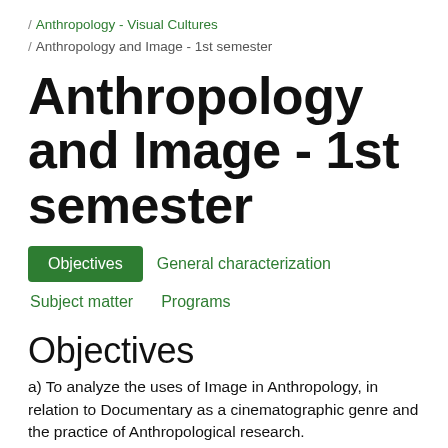/ Anthropology - Visual Cultures / Anthropology and Image - 1st semester
Anthropology and Image - 1st semester
Objectives
General characterization
Subject matter
Programs
Objectives
a) To analyze the uses of Image in Anthropology, in relation to Documentary as a cinematographic genre and the practice of Anthropological research.
b)To discuss the historical development of Documentary as a genre that created a specific identity